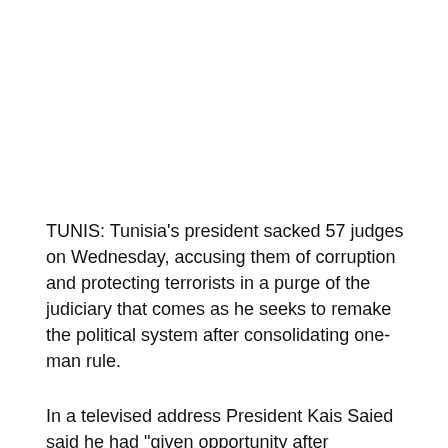TUNIS: Tunisia's president sacked 57 judges on Wednesday, accusing them of corruption and protecting terrorists in a purge of the judiciary that comes as he seeks to remake the political system after consolidating one-man rule.
In a televised address President Kais Saied said he had "given opportunity after opportunity and warning after warning to the judiciary to purify itself". Hours later the official gazette published a decree announcing the dismissals.
Among those sacked was Youssef Bouzaker, the former